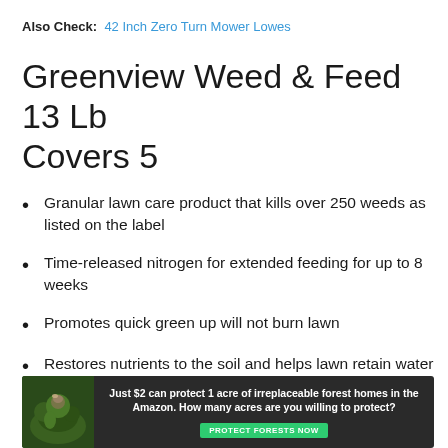Also Check: 42 Inch Zero Turn Mower Lowes
Greenview Weed & Feed 13 Lb Covers 5
Granular lawn care product that kills over 250 weeds as listed on the label
Time-released nitrogen for extended feeding for up to 8 weeks
Promotes quick green up will not burn lawn
Restores nutrients to the soil and helps lawn retain water to protect against heat and drought
[Figure (infographic): Advertisement banner with forest/nature background image, text reading 'Just $2 can protect 1 acre of irreplaceable forest homes in the Amazon. How many acres are you willing to protect?' with a green 'PROTECT FORESTS NOW' button]